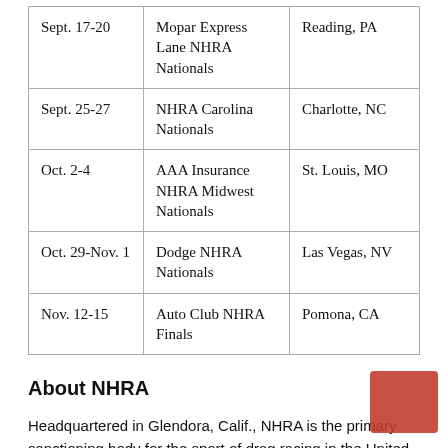| Sept. 17-20 | Mopar Express Lane NHRA Nationals | Reading, PA |
| Sept. 25-27 | NHRA Carolina Nationals | Charlotte, NC |
| Oct. 2-4 | AAA Insurance NHRA Midwest Nationals | St. Louis, MO |
| Oct. 29-Nov. 1 | Dodge NHRA Nationals | Las Vegas, NV |
| Nov. 12-15 | Auto Club NHRA Finals | Pomona, CA |
About NHRA
Headquartered in Glendora, Calif., NHRA is the primary sanctioning body for the sport of drag racing in the United States. NHRA presents 24 national events featuring the NHRA Mello Yello Drag Racing Series, NHRA Lucas Oil Drag